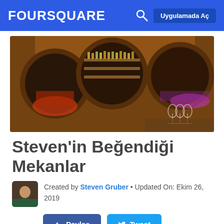FOURSQUARE  Uygulamada Aç
[Figure (photo): Interior photo of a restaurant with circular wooden porthole-style decorative wall panels, bar shelves with bottles in the background, and dining tables with wine glasses; warm amber and purple lighting.]
Steven'in Beğendiği Mekanlar
Created by Steven Gruber • Updated On: Ekim 26, 2019